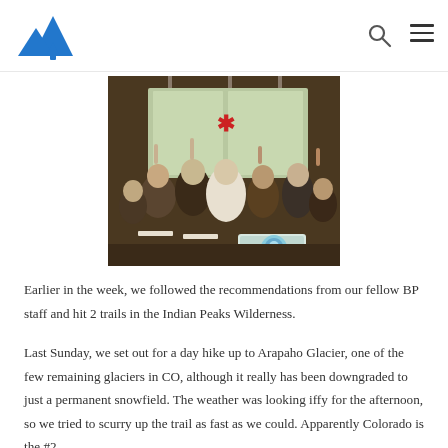[Mountain/outdoor website header with logo and navigation icons]
[Figure (photo): Indoor gathering or event with crowd of people seated and standing, some with raised hands, in a retail or community space with large windows. A laptop with a colorful sticker is visible in the foreground.]
Earlier in the week, we followed the recommendations from our fellow BP staff and hit 2 trails in the Indian Peaks Wilderness.
Last Sunday, we set out for a day hike up to Arapaho Glacier, one of the few remaining glaciers in CO, although it really has been downgraded to just a permanent snowfield. The weather was looking iffy for the afternoon, so we tried to scurry up the trail as fast as we could. Apparently Colorado is the #2